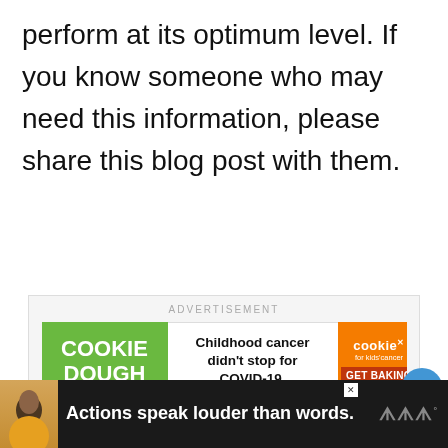perform at its optimum level. If you know someone who may need this information, please share this blog post with them.
[Figure (screenshot): Advertisement banner for Cookies for Kids' Cancer featuring green 'COOKIE DOUGH' logo on left, center text 'Childhood cancer didn't stop for COVID-19.', and orange right panel with cookie logo and 'GET BAKING' button]
[Figure (screenshot): Social sidebar with heart (like) button in blue circle, count '1', and share button]
[Figure (screenshot): What's Next card with thumbnail image and text 'WHAT'S NEXT → How To Replace The...']
[Figure (screenshot): Bottom advertisement bar with dark background, person in yellow shirt, text 'Actions speak louder than words.' and a logo on right, with X close button]